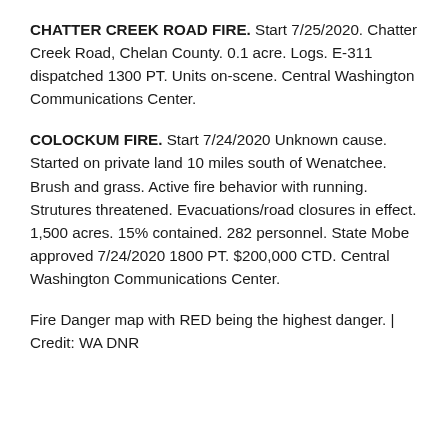CHATTER CREEK ROAD FIRE. Start 7/25/2020. Chatter Creek Road, Chelan County. 0.1 acre. Logs. E-311 dispatched 1300 PT. Units on-scene. Central Washington Communications Center.
COLOCKUM FIRE. Start 7/24/2020 Unknown cause. Started on private land 10 miles south of Wenatchee. Brush and grass. Active fire behavior with running. Strutures threatened. Evacuations/road closures in effect. 1,500 acres. 15% contained. 282 personnel. State Mobe approved 7/24/2020 1800 PT. $200,000 CTD. Central Washington Communications Center.
Fire Danger map with RED being the highest danger. | Credit: WA DNR